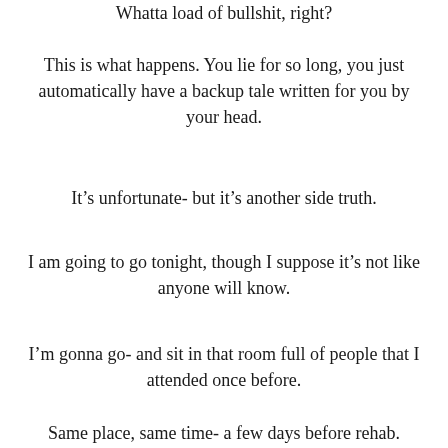Whatta load of bullshit, right?
This is what happens. You lie for so long, you just automatically have a backup tale written for you by your head.
It’s unfortunate- but it’s another side truth.
I am going to go tonight, though I suppose it’s not like anyone will know.
I’m gonna go- and sit in that room full of people that I attended once before.
Same place, same time- a few days before rehab.